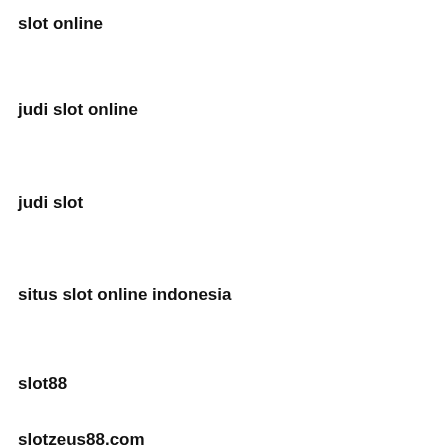slot online
judi slot online
judi slot
situs slot online indonesia
slot88
slotzeus88.com